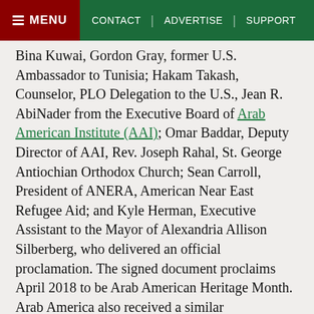MENU | CONTACT | ADVERTISE | SUPPORT
Bina Kuwai, Gordon Gray, former U.S. Ambassador to Tunisia; Hakam Takash, Counselor, PLO Delegation to the U.S., Jean R. AbiNader from the Executive Board of Arab American Institute (AAI); Omar Baddar, Deputy Director of AAI, Rev. Joseph Rahal, St. George Antiochian Orthodox Church; Sean Carroll, President of ANERA, American Near East Refugee Aid; and Kyle Herman, Executive Assistant to the Mayor of Alexandria Allison Silberberg, who delivered an official proclamation. The signed document proclaims April 2018 to be Arab American Heritage Month. Arab America also received a similar proclamation from Washington DC Mayor Murial Bowser.
Additional Proclamations and Resolutions to Date: